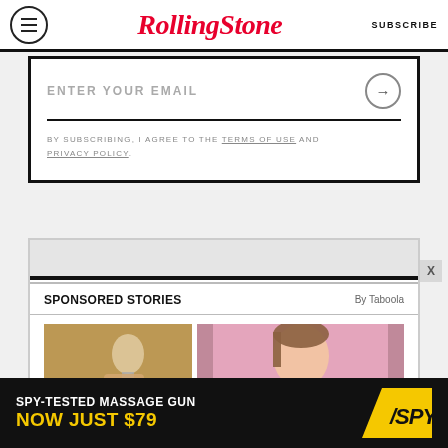RollingStone  SUBSCRIBE
ENTER YOUR EMAIL
BY SUBSCRIBING, I AGREE TO THE TERMS OF USE AND PRIVACY POLICY.
SPONSORED STORIES  By Taboola
[Figure (photo): Two sponsored story thumbnail images: left shows a hand holding a light bulb, right shows a woman with brown hair against a pink background]
[Figure (infographic): Advertisement banner: SPY-TESTED MASSAGE GUN NOW JUST $79 with SPY logo in yellow on black background]